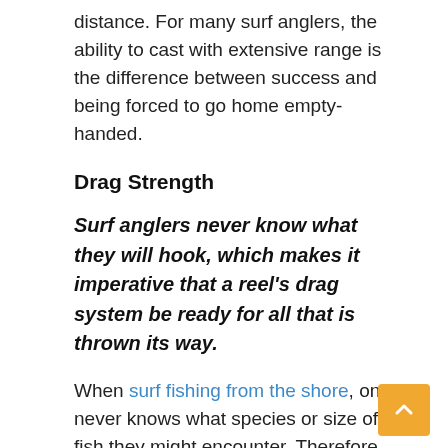distance. For many surf anglers, the ability to cast with extensive range is the difference between success and being forced to go home empty-handed.
Drag Strength
Surf anglers never know what they will hook, which makes it imperative that a reel's drag system be ready for all that is thrown its way.
When surf fishing from the shore, one never knows what species or size of fish they might encounter. Therefore, a surf reel needs to feature a robust drag system, which is smooth and consistent in